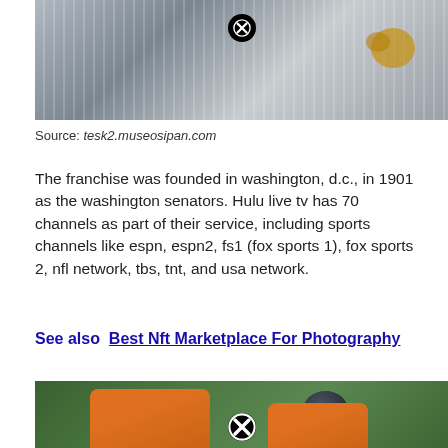[Figure (photo): Baseball player in white pinstripe uniform holding a glove, with a close button overlay]
Source: tesk2.museosipan.com
The franchise was founded in washington, d.c., in 1901 as the washington senators. Hulu live tv has 70 channels as part of their service, including sports channels like espn, espn2, fs1 (fox sports 1), fox sports 2, nfl network, tbs, tnt, and usa network.
See also  Best Nft Marketplace For Photography
[Figure (photo): Two baseball players in orange Houston Astros uniforms on a green field, with a close button overlay. Player name CORREA visible.]